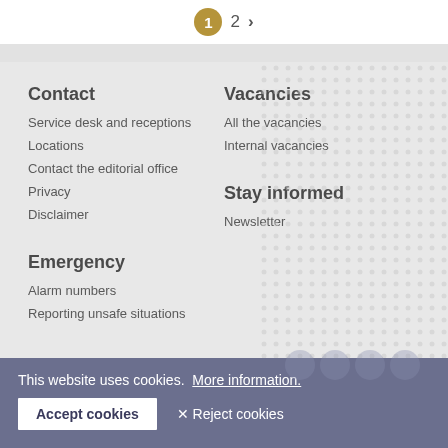1  2  >
Contact
Service desk and receptions
Locations
Contact the editorial office
Privacy
Disclaimer
Vacancies
All the vacancies
Internal vacancies
Emergency
Alarm numbers
Reporting unsafe situations
Stay informed
Newsletter
This website uses cookies.  More information.
Accept cookies   ✕ Reject cookies